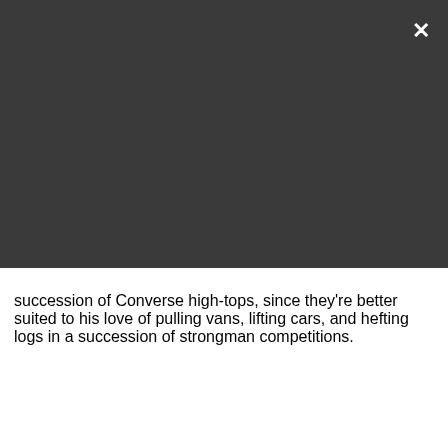[Figure (screenshot): Video player overlay with dark gray background, showing a black video screen with a circular play button (gray circle with triangle) and a 'PLAY SOUND' button with speaker icon at top. A white X close button is at top right, and an expand icon at bottom right.]
succession of Converse high-tops, since they're better suited to his love of pulling vans, lifting cars, and hefting logs in a succession of strongman competitions.
MORE ABOUT...
LATEST